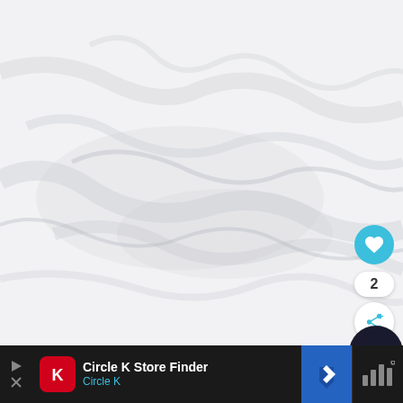[Figure (photo): White marble texture background with gray veining patterns]
[Figure (screenshot): Social media UI overlay with heart/like button (blue circle with heart icon), like count showing 2, and a share button (circle with share icon), plus a dark crescent/circle element in lower right]
[Figure (screenshot): Mobile advertisement banner at bottom: Circle K Store Finder ad with red Circle K logo, title 'Circle K Store Finder', subtitle 'Circle K' in blue, blue navigation arrow button, and weather widget showing bar chart icon]